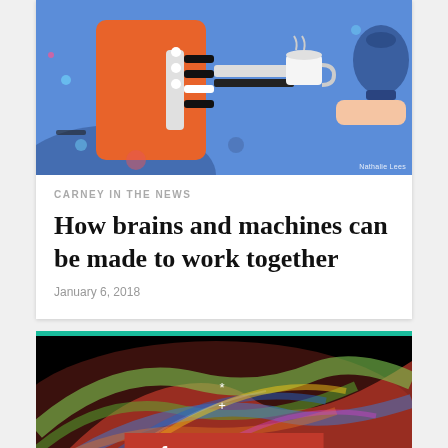[Figure (illustration): Colorful illustration of a robotic arm serving coffee to a human hand, blue background with geometric shapes and a kettle on the right]
Nathalie Lees
CARNEY IN THE NEWS
How brains and machines can be made to work together
January 6, 2018
[Figure (photo): Close-up colorful photo of neural brain scan or fiber structure with vivid red, green, blue colors on black background. Social share bar overlay with Facebook, Twitter, LinkedIn and email icons on red background.]